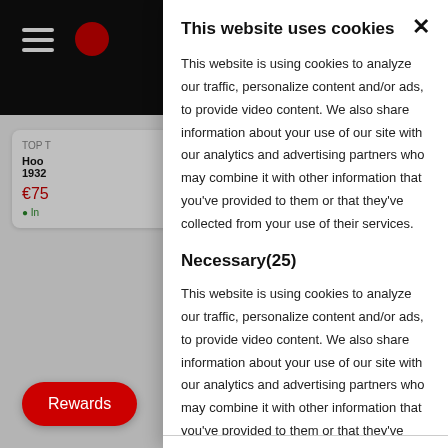This website uses cookies
This website is using cookies to analyze our traffic, personalize content and/or ads, to provide video content. We also share information about your use of our site with our analytics and advertising partners who may combine it with other information that you've provided to them or that they've collected from your use of their services.
Necessary(25)
This website is using cookies to analyze our traffic, personalize content and/or ads, to provide video content. We also share information about your use of our site with our analytics and advertising partners who may combine it with other information that you've provided to them or that they've collected from your use of their services.